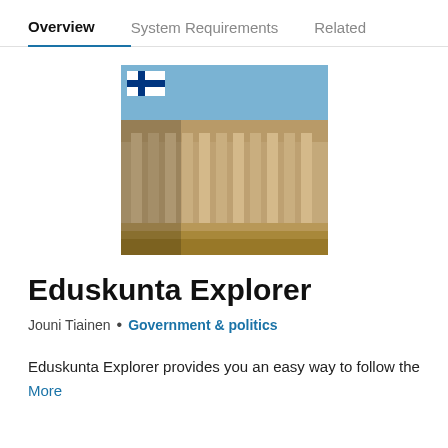Overview   System Requirements   Related
[Figure (screenshot): Screenshot of a neoclassical parliament building with tall columns, with a Finnish flag overlay in the top-left corner of the image.]
Eduskunta Explorer
Jouni Tiainen • Government & politics
Eduskunta Explorer provides you an easy way to follow the
More